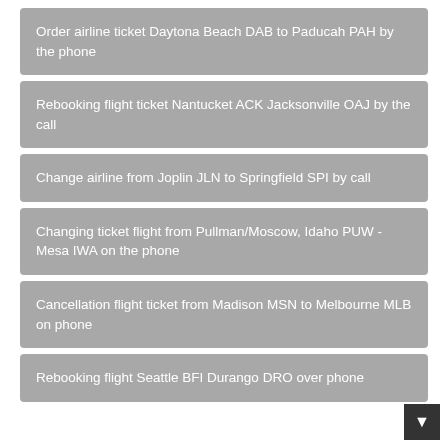Order airline ticket Daytona Beach DAB to Paducah PAH by the phone
Rebooking flight ticket Nantucket ACK Jacksonville OAJ by the call
Change airline from Joplin JLN to Springfield SPI by call
Changing ticket flight from Pullman/Moscow, Idaho PUW - Mesa IWA on the phone
Cancellation flight ticket from Madison MSN to Melbourne MLB on phone
Rebooking flight Seattle BFI Durango DRO over phone